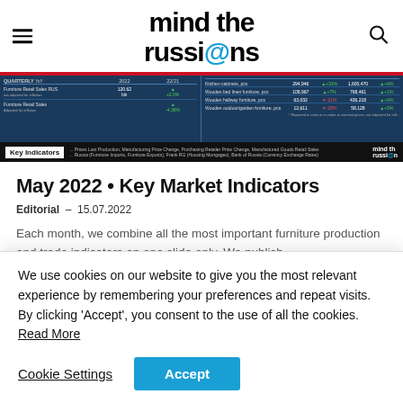mind the russi@ns
[Figure (screenshot): Key Indicators data strip showing quarterly furniture market statistics table with columns for 2022 and 22/21 comparisons, including Furniture Retail Sales, Kitchen cabinets, Wooden bed linen furniture, Wooden hallway furniture, Wooden outdoor/garden furniture metrics with percentage changes highlighted in green/red.]
May 2022 • Key Market Indicators
Editorial – 15.07.2022
Each month, we combine all the most important furniture production and trade indicators on one slide only. We publish
We use cookies on our website to give you the most relevant experience by remembering your preferences and repeat visits. By clicking 'Accept', you consent to the use of all the cookies. Read More
Cookie Settings
Accept